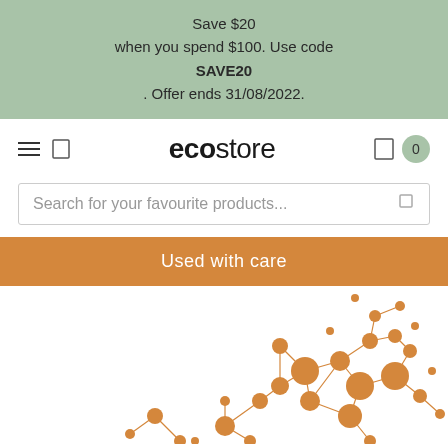Save $20 when you spend $100. Use code SAVE20. Offer ends 31/08/2022.
ecostore
Search for your favourite products...
Used with care
[Figure (illustration): Molecular structure diagram with orange circles of varying sizes connected by lines, representing chemical/ingredient network visualization.]